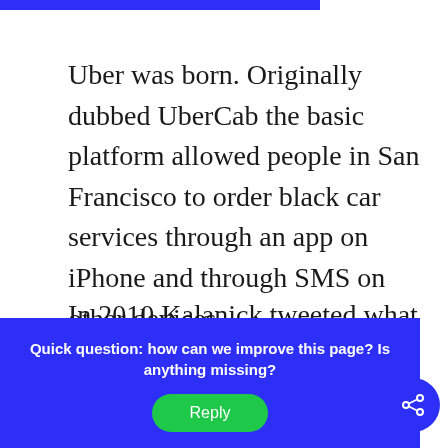Uber was born. Originally dubbed UberCab the basic platform allowed people in San Francisco to order black car services through an app on iPhone and through SMS on other devices.
In 2010 Kalanick tweeted what is arguably one of the most valuable t...
[Figure (other): Blue circular scroll-down button with a downward chevron arrow]
Quick question: how can we improve this page? Is anything missing?
Reply
[Figure (other): Blue circular share button with share/network icon]